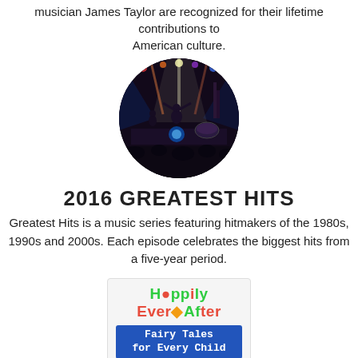musician James Taylor are recognized for their lifetime contributions to American culture.
[Figure (photo): Circular cropped photo of a concert performance with stage lights and performers.]
2016 GREATEST HITS
Greatest Hits is a music series featuring hitmakers of the 1980s, 1990s and 2000s. Each episode celebrates the biggest hits from a five-year period.
[Figure (logo): Logo for 'Happily Ever After: Fairy Tales for Every Child' with colorful text and a blue banner.]